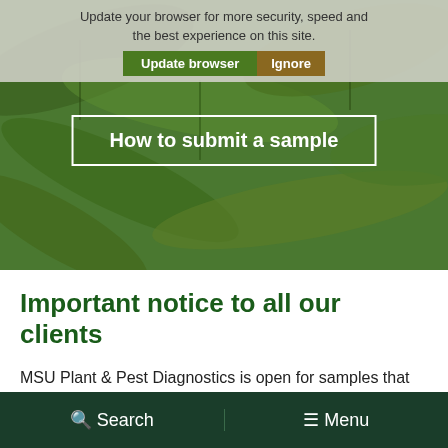[Figure (screenshot): Hero image of green plant leaves with browser update notification overlay and 'How to submit a sample' button on top]
Important notice to all our clients
MSU Plant & Pest Diagnostics is open for samples that are dropped-off or mailed to the lab.  Please avoid shipping samples on Fridays as packages are not delivered to campus on weekends.  When submitting plant samples, we encourage clients to email digital images to
Search   Menu